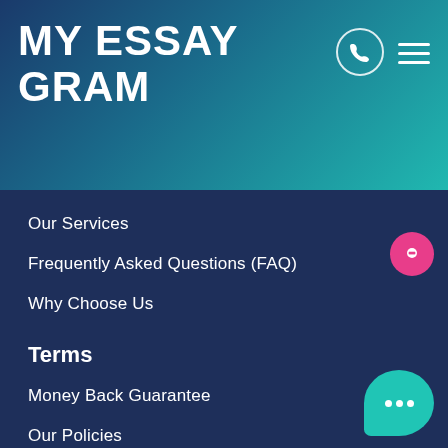MY ESSAY GRAM
Our Services
Frequently Asked Questions (FAQ)
Why Choose Us
Terms
Money Back Guarantee
Our Policies
We accept
[Figure (logo): McAfee SECURE logo and PayPal logo]